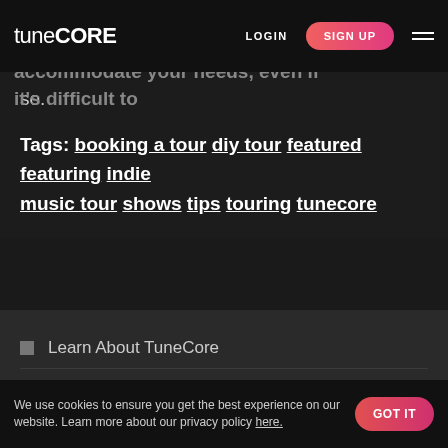tunecore | LOGIN | SIGN UP
Stay with friends and family when you can, and accommodate your needs, even if it's difficult to do so.
Tags: booking a tour diy tour featured featuring indie music tour shows tips touring tunecore
Learn About TuneCore
Make Money With TuneCore
TuneCore Community
We use cookies to ensure you get the best experience on our website. Learn more about our privacy policy here. GOT IT